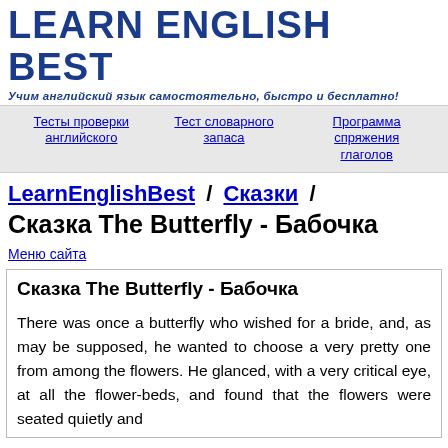LEARN ENGLISH BEST
Учим английский язык самостоятельно, быстро и бесплатно!
Тесты проверки английского | Тест словарного запаса | Программа спряжения глаголов
LearnEnglishBest / Сказки / Сказка The Butterfly - Бабочка
Меню сайта
Сказка The Butterfly - Бабочка
There was once a butterfly who wished for a bride, and, as may be supposed, he wanted to choose a very pretty one from among the flowers. He glanced, with a very critical eye, at all the flower-beds, and found that the flowers were seated quietly and